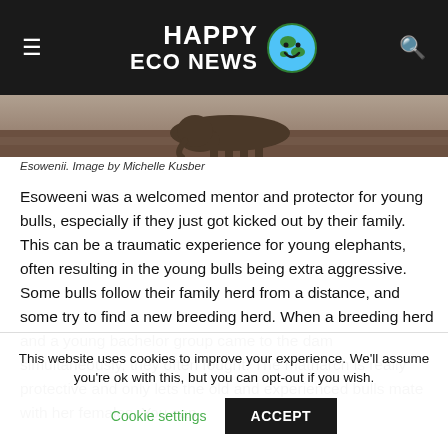HAPPY ECO NEWS
[Figure (photo): Photo of Esoweeni, an elephant, in a natural landscape. Image by Michelle Kusber.]
Esowenii. Image by Michelle Kusber
Esoweeni was a welcomed mentor and protector for young bulls, especially if they just got kicked out by their family. This can be a traumatic experience for young elephants, often resulting in the young bulls being extra aggressive. Some bulls follow their family herd from a distance, and some try to find a new breeding herd. When a breeding herd and a young bachelor group came to the dam simultaneously, they often fought. The matriarch is really protective and only lets the old and experienced bulls mate with her females. You can
This website uses cookies to improve your experience. We'll assume you're ok with this, but you can opt-out if you wish.